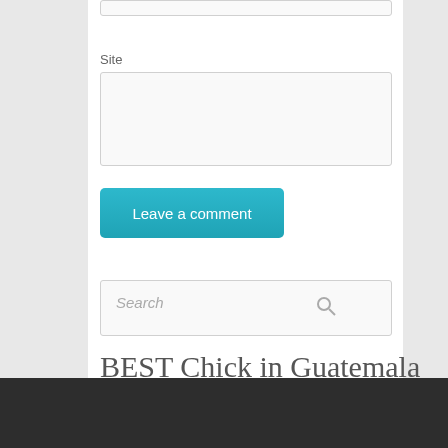Site
[Figure (screenshot): Site text input field (empty)]
Leave a comment
[Figure (screenshot): Search input box with search icon]
BEST Chick in Guatemala
Girls with video
Show me!